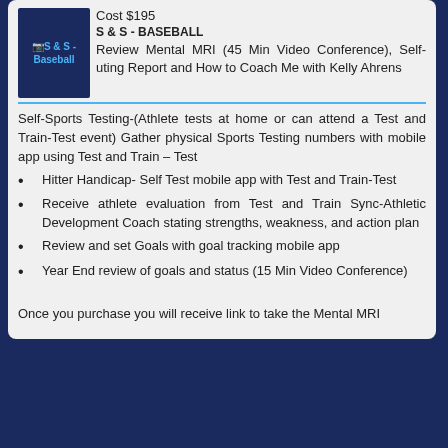Cost $195
[Figure (logo): S & S - Baseball logo placeholder image]
S & S - BASEBALL
Review Mental MRI (45 Min Video Conference), Self-uting Report and How to Coach Me with Kelly Ahrens
Self-Sports Testing-(Athlete tests at home or can attend a Test and Train-Test event) Gather physical Sports Testing numbers with mobile app using Test and Train – Test
Hitter Handicap- Self Test mobile app with Test and Train-Test
Receive athlete evaluation from Test and Train Sync-Athletic Development Coach stating strengths, weakness, and action plan
Review and set Goals with goal tracking mobile app
Year End review of goals and status (15 Min Video Conference)
Once you purchase you will receive link to take the Mental MRI